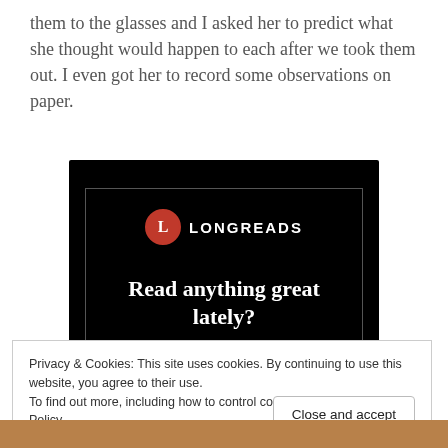them to the glasses and I asked her to predict what she thought would happen to each after we took them out. I even got her to record some observations on paper.
[Figure (screenshot): Longreads advertisement banner on a black background with a bordered inner box. Shows the Longreads logo (red circle with L), the text 'Read anything great lately?' and a red 'Start reading' button.]
Privacy & Cookies: This site uses cookies. By continuing to use this website, you agree to their use.
To find out more, including how to control cookies, see here: Cookie Policy
Close and accept